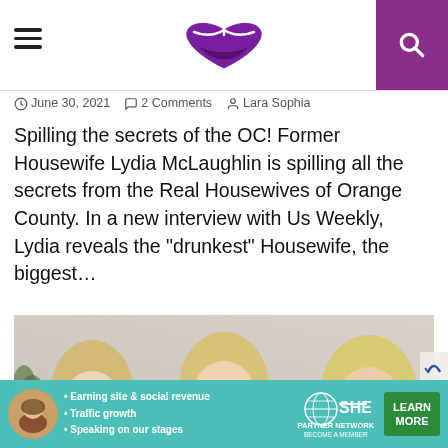Menu | [Lips logo] | Search
June 30, 2021  2 Comments  Lara Sophia
Spilling the secrets of the OC! Former Housewife Lydia McLaughlin is spilling all the secrets from the Real Housewives of Orange County. In a new interview with Us Weekly, Lydia reveals the “drunkest” Housewife, the biggest…
[Figure (photo): Three blonde women in white and lavender formal dresses posing together for a photo]
[Figure (infographic): SHE Partner Network advertisement banner with teal background showing bullet points: Earning site & social revenue, Traffic growth, Speaking on our stages. Includes SHE logo and LEARN MORE green button.]